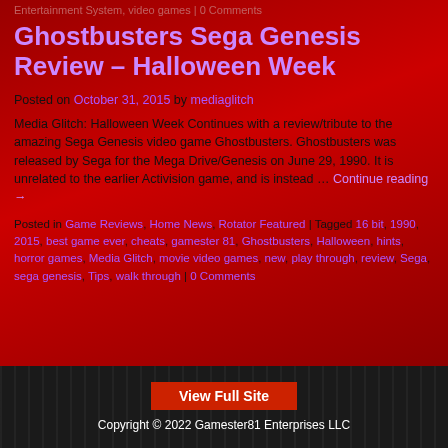Entertainment System, video games | 0 Comments
Ghostbusters Sega Genesis Review – Halloween Week
Posted on October 31, 2015 by mediaglitch
Media Glitch: Halloween Week Continues with a review/tribute to the amazing Sega Genesis video game Ghostbusters. Ghostbusters was released by Sega for the Mega Drive/Genesis on June 29, 1990. It is unrelated to the earlier Activision game, and is instead … Continue reading →
Posted in Game Reviews, Home News, Rotator Featured | Tagged 16 bit, 1990, 2015, best game ever, cheats, gamester 81, Ghostbusters, Halloween, hints, horror games, Media Glitch, movie video games, new, play through, review, Sega, sega genesis, Tips, walk through | 0 Comments
View Full Site
Copyright © 2022 Gamester81 Enterprises LLC